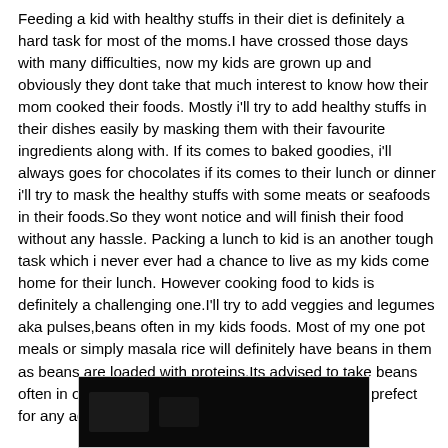Feeding a kid with healthy stuffs in their diet is definitely a hard task for most of the moms.I have crossed those days with many difficulties, now my kids are grown up and obviously they dont take that much interest to know how their mom cooked their foods. Mostly i'll try to add healthy stuffs in their dishes easily by masking them with their favourite ingredients along with. If its comes to baked goodies, i'll always goes for chocolates if its comes to their lunch or dinner i'll try to mask the healthy stuffs with some meats or seafoods in their foods.So they wont notice and will finish their food without any hassle. Packing a lunch to kid is an another tough task which i never ever had a chance to live as my kids come home for their lunch. However cooking food to kids is definitely a challenging one.I'll try to add veggies and legumes aka pulses,beans often in my kids foods. Most of my one pot meals or simply masala rice will definitely have beans in them as beans are loaded with proteins.Its advised to take beans often in our diet as beans will digest easily and suits prefect for any ages.
[Figure (photo): A dark/black image, partially visible at the bottom of the page, appears to show food in a dark setting.]